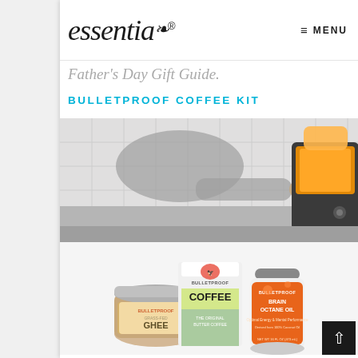essentia® ≡ MENU
Father's Day Gift Guide.
BULLETPROOF COFFEE KIT
[Figure (photo): Bulletproof Coffee Kit product photo showing a person using a coffee maker in the background (kitchen setting with white tile), and in the foreground Bulletproof branded products: Grass-Fed Ghee jar, Bulletproof Coffee bag, and Brain Octane Oil bottle.]